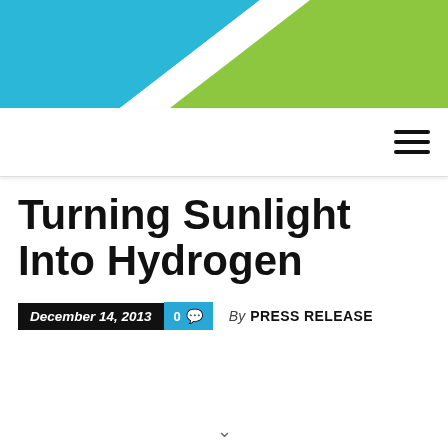[Figure (illustration): Decorative header banner with diagonal blue and green color blocks on white background]
Turning Sunlight Into Hydrogen
December 14, 2013  0  By PRESS RELEASE